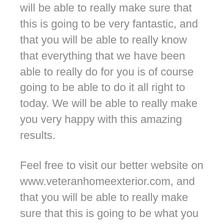will be able to really make sure that this is going to be very fantastic, and that you will be able to really know that everything that we have been able to really do for you is of course going to be able to do it all right to today. We will be able to really make you very happy with this amazing results.
Feel free to visit our better website on www.veteranhomeexterior.com, and that you will be able to really make sure that this is going to be what you have always trusted today. You will be able to really make sure it gives a call at 806-803-9060 today.